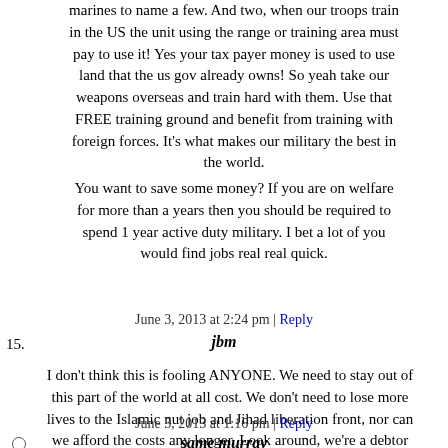marines to name a few. And two, when our troops train in the US the unit using the range or training area must pay to use it! Yes your tax payer money is used to use land that the us gov already owns! So yeah take our weapons overseas and train hard with them. Use that FREE training ground and benefit from training with foreign forces. It's what makes our military the best in the world.
You want to save some money? If you are on welfare for more than a years then you should be required to spend 1 year active duty military. I bet a lot of you would find jobs real real quick.
June 3, 2013 at 2:24 pm | Reply
15.
jbm
I don't think this is fooling ANYONE. We need to stay out of this part of the world at all cost. We don't need to lose more lives to the Islamic nut job and Jihad liberation front, nor can we afford the costs any longer. Look around, we're a debtor nation.
June 3, 2013 at 1:16 pm | Reply
same murray